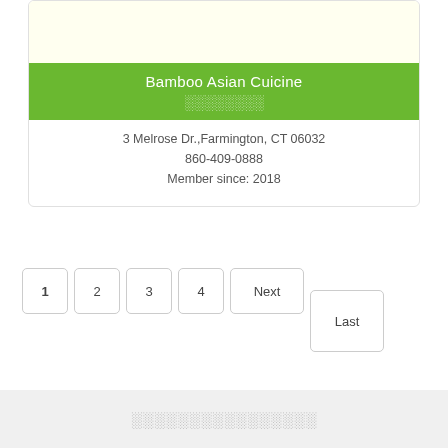[Figure (other): Restaurant logo image area with light yellow background]
Bamboo Asian Cuicine
░░░░░░░░
3 Melrose Dr.,Farmington, CT 06032
860-409-0888
Member since: 2018
1
2
3
4
Next
Last
░░░░░░░░░░░░░░░░